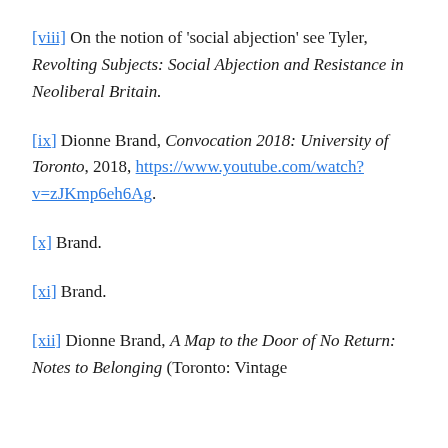[viii] On the notion of 'social abjection' see Tyler, Revolting Subjects: Social Abjection and Resistance in Neoliberal Britain.
[ix] Dionne Brand, Convocation 2018: University of Toronto, 2018, https://www.youtube.com/watch?v=zJKmp6eh6Ag.
[x] Brand.
[xi] Brand.
[xii] Dionne Brand, A Map to the Door of No Return: Notes to Belonging (Toronto: Vintage